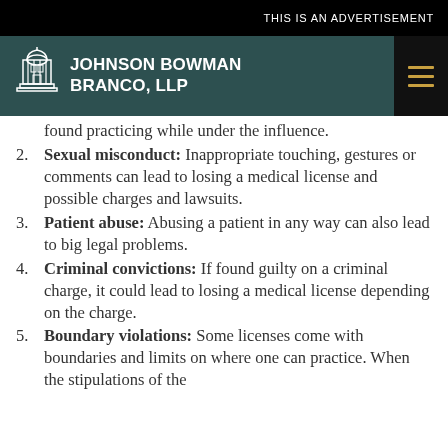THIS IS AN ADVERTISEMENT
JOHNSON BOWMAN BRANCO, LLP
found practicing while under the influence.
Sexual misconduct: Inappropriate touching, gestures or comments can lead to losing a medical license and possible charges and lawsuits.
Patient abuse: Abusing a patient in any way can also lead to big legal problems.
Criminal convictions: If found guilty on a criminal charge, it could lead to losing a medical license depending on the charge.
Boundary violations: Some licenses come with boundaries and limits on where one can practice. When the stipulations of the